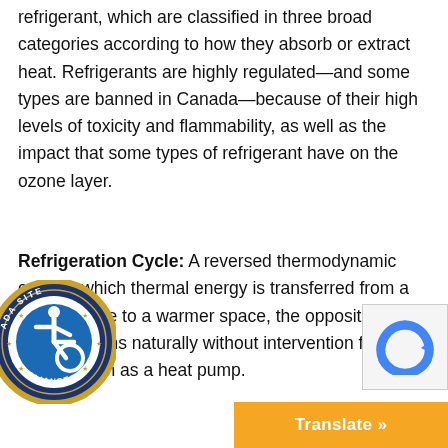refrigerant, which are classified in three broad categories according to how they absorb or extract heat. Refrigerants are highly regulated—and some types are banned in Canada—because of their high levels of toxicity and flammability, as well as the impact that some types of refrigerant have on the ozone layer.
Refrigeration Cycle: A reversed thermodynamic cycle in which thermal energy is transferred from a cooler space to a warmer space, the opposite of what happens naturally without intervention from a system such as a heat pump.
[Figure (logo): ADA Site Compliance badge — circular dark blue badge with gold star ring, white center showing wheelchair accessibility icon, text reading ADA SITE COMPLIANCE around the border]
[Figure (logo): reCAPTCHA logo — blue circular arrow icon in a light gray box]
[Figure (other): Orange Translate button bar at bottom right with white bold text 'Translate »']